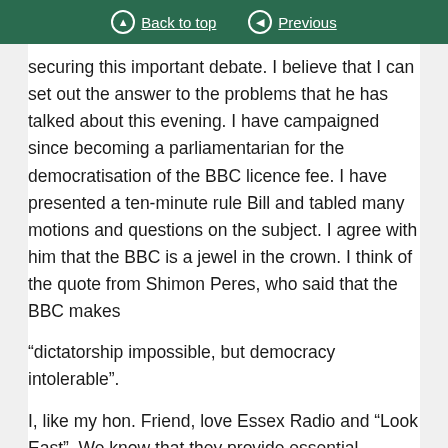Back to top | Previous
securing this important debate. I believe that I can set out the answer to the problems that he has talked about this evening. I have campaigned since becoming a parliamentarian for the democratisation of the BBC licence fee. I have presented a ten-minute rule Bill and tabled many motions and questions on the subject. I agree with him that the BBC is a jewel in the crown. I think of the quote from Shimon Peres, who said that the BBC makes
“dictatorship impossible, but democracy intolerable”.
I, like my hon. Friend, love Essex Radio and “Look East”. We know that they provide essential services for people in my community, but the problem is that we are compelled to pay for the BBC and have no